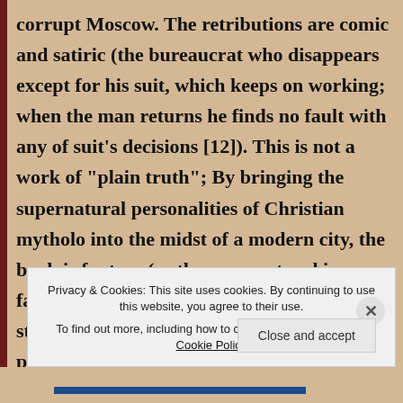corrupt Moscow. The retributions are comic and satiric (the bureaucrat who disappears except for his suit, which keeps on working; when the man returns he finds no fault with any of suit's decisions [12]). This is not a work of "plain truth"; By bringing the supernatural personalities of Christian mythology into the midst of a modern city, the book is fantasy (as the supernatural is fantastic). It uses Christianity as a device to structure to its phantasm and to join the two plots together in harmonious ambiguity. Supernatural characters convey the heroes' disaster to a more final, more ambiguous resolution,
Privacy & Cookies: This site uses cookies. By continuing to use this website, you agree to their use.
To find out more, including how to control cookies, see here: Cookie Policy
Close and accept